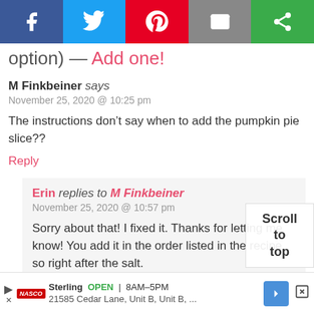[Figure (screenshot): Social sharing bar with Facebook, Twitter, Pinterest, Email, and share buttons]
option) — Add one!
M Finkbeiner says
November 25, 2020 @ 10:25 pm
The instructions don't say when to add the pumpkin pie slice??
Reply
Erin replies to M Finkbeiner
November 25, 2020 @ 10:57 pm
Sorry about that! I fixed it. Thanks for letting me know! You add it in the order listed in the recipe, so right after the salt.
Scroll to top
Sterling OPEN 8AM–5PM 21585 Cedar Lane, Unit B, Unit B, ...